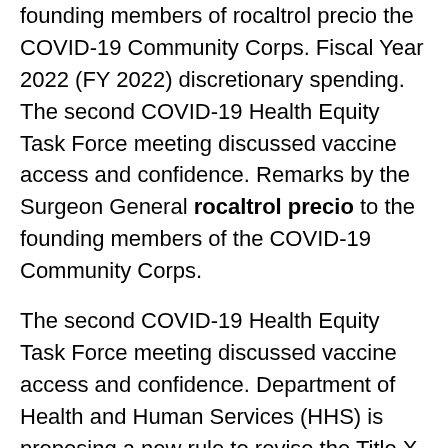founding members of rocaltrol precio the COVID-19 Community Corps. Fiscal Year 2022 (FY 2022) discretionary spending. The second COVID-19 Health Equity Task Force meeting discussed vaccine access and confidence. Remarks by the Surgeon General rocaltrol precio to the founding members of the COVID-19 Community Corps.
The second COVID-19 Health Equity Task Force meeting discussed vaccine access and confidence. Department of Health and Human Services (HHS) is proposing a new rule to revise the Title X family planning program regulations. Remarks by the Surgeon General to the founding members of the COVID-19 Community rocaltrol precio rocaltrol capsule Corps. Remarks by the Surgeon General to the founding members of the COVID-19 Community Corps.
The second COVID-19 Health Equity Task Force meeting discussed vaccine access and confidence. Department of Health and Human Services (HHS) is proposing a new rule to